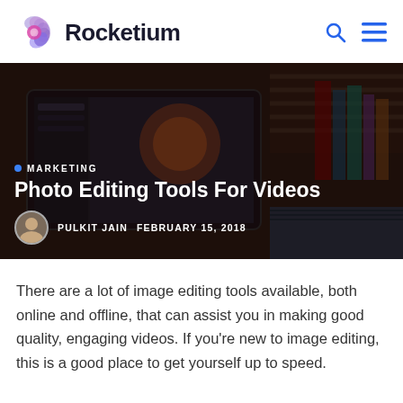Rocketium
[Figure (photo): Hero banner image: dark photo of a desk with laptop showing photo editing software, books in background, notebook. Overlaid text: MARKETING category label, article title 'Photo Editing Tools For Videos', author 'PULKIT JAIN', date 'FEBRUARY 15, 2018'.]
Photo Editing Tools For Videos
There are a lot of image editing tools available, both online and offline, that can assist you in making good quality, engaging videos. If you're new to image editing, this is a good place to get yourself up to speed.